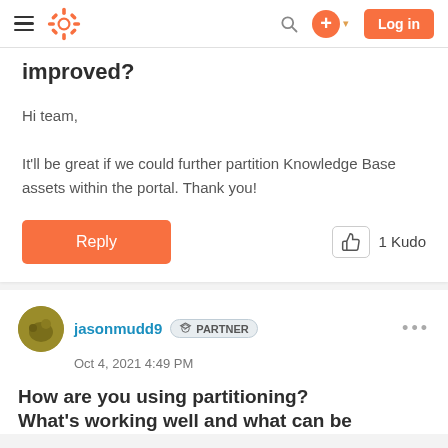HubSpot Community navigation bar with hamburger menu, HubSpot logo, search icon, plus button, and Log in button
improved?
Hi team,

It'll be great if we could further partition Knowledge Base assets within the portal. Thank you!
Reply  1 Kudo
jasonmudd9  PARTNER
Oct 4, 2021 4:49 PM
How are you using partitioning? What's working well and what can be